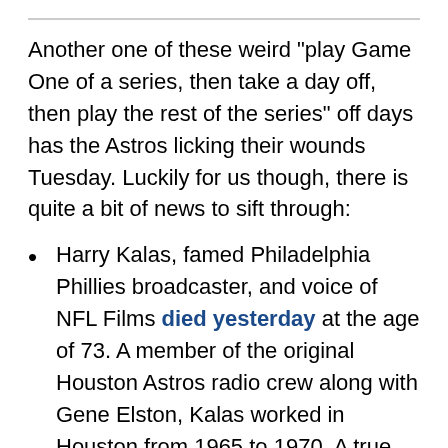Another one of these weird "play Game One of a series, then take a day off, then play the rest of the series" off days has the Astros licking their wounds Tuesday. Luckily for us though, there is quite a bit of news to sift through:
Harry Kalas, famed Philadelphia Phillies broadcaster, and voice of NFL Films died yesterday at the age of 73. A member of the original Houston Astros radio crew along with Gene Elston, Kalas worked in Houston from 1965 to 1970. A true legend, indeed. He passed away while at the ballpark. I suppose that's fitting for a man such as Mr. Kalas
Just hours after Harry Kalas' death, the sadness around MLB was exacerbated as former pitcher